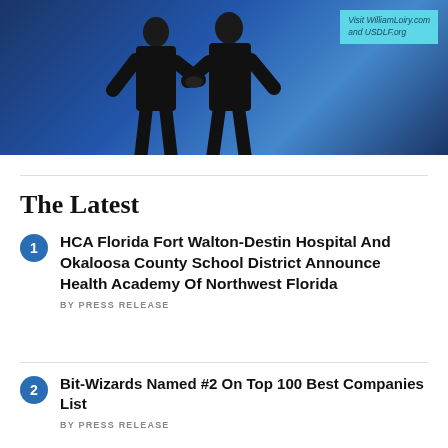[Figure (photo): Two men in dark suits shaking hands in front of a blue background. A cyan/teal box in the upper right reads 'Visit WilliamLoiry.com and USDLF.org']
The Latest
1. HCA Florida Fort Walton-Destin Hospital And Okaloosa County School District Announce Health Academy Of Northwest Florida – BY PRESS RELEASE
2. Bit-Wizards Named #2 On Top 100 Best Companies List – BY PRESS RELEASE